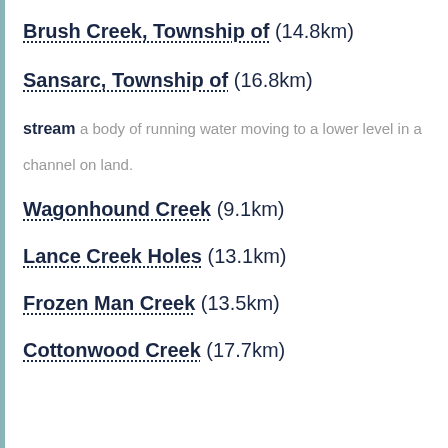Brush Creek, Township of (14.8km)
Sansarc, Township of (16.8km)
stream a body of running water moving to a lower level in a channel on land.
Wagonhound Creek (9.1km)
Lance Creek Holes (13.1km)
Frozen Man Creek (13.5km)
Cottonwood Creek (17.7km)